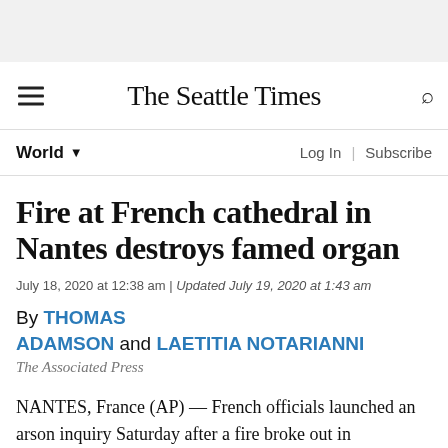The Seattle Times
World
Fire at French cathedral in Nantes destroys famed organ
July 18, 2020 at 12:38 am | Updated July 19, 2020 at 1:43 am
By THOMAS ADAMSON and LAETITIA NOTARIANNI
The Associated Press
NANTES, France (AP) — French officials launched an arson inquiry Saturday after a fire broke out in